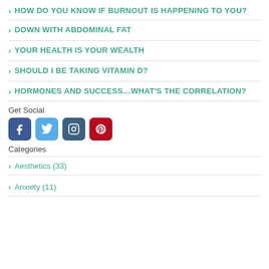HOW DO YOU KNOW IF BURNOUT IS HAPPENING TO YOU?
DOWN WITH ABDOMINAL FAT
YOUR HEALTH IS YOUR WEALTH
SHOULD I BE TAKING VITAMIN D?
HORMONES AND SUCCESS...WHAT'S THE CORRELATION?
Get Social
[Figure (other): Social media icons: Facebook, Twitter, Instagram, Pinterest]
Categories
Aesthetics (33)
Anxiety (11)